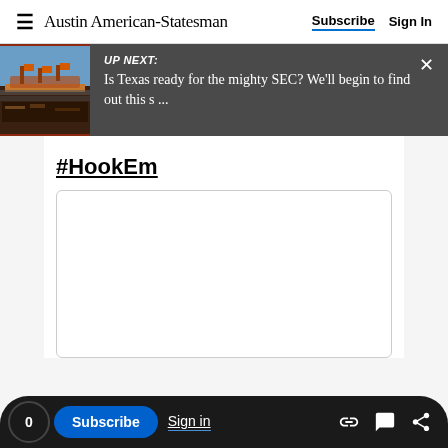Austin American-Statesman | Subscribe | Sign In
[Figure (screenshot): Up Next banner with thumbnail image of UT football stadium and text: UP NEXT: Is Texas ready for the mighty SEC? We'll begin to find out this s ...]
#HookEm
[Figure (other): Embedded content box (empty white rectangle with rounded border)]
0 | Subscribe | Sign in | link icon | comment icon | share icon